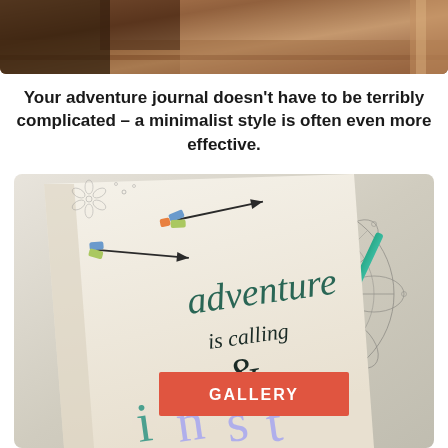[Figure (photo): Top portion of a photo showing a journal or book on a wooden surface with decorative items]
Your adventure journal doesn't have to be terribly complicated – a minimalist style is often even more effective.
[Figure (photo): Photo of an open journal with hand-lettered text reading 'adventure is calling &' with decorative arrows and a compass/mandala drawing in the background. A coral/red button overlay reads 'GALLERY'.]